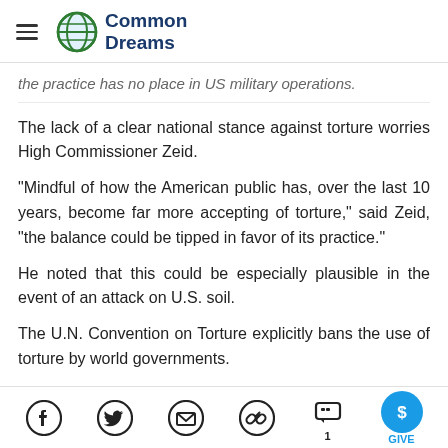Common Dreams
the practice has no place in US military operations.
The lack of a clear national stance against torture worries High Commissioner Zeid.
"Mindful of how the American public has, over the last 10 years, become far more accepting of torture," said Zeid, "the balance could be tipped in favor of its practice."
He noted that this could be especially plausible in the event of an attack on U.S. soil.
The U.N. Convention on Torture explicitly bans the use of torture by world governments.
Social share icons: Facebook, Twitter, Email, Link, Comments (1), Give